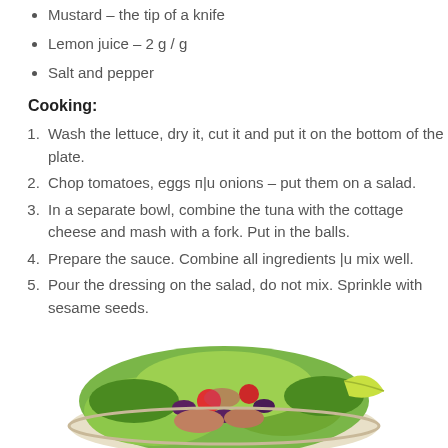Mustard – the tip of a knife
Lemon juice – 2 g / g
Salt and pepper
Cooking:
Wash the lettuce, dry it, cut it and put it on the bottom of the plate.
Chop tomatoes, eggs п|u onions – put them on a salad.
In a separate bowl, combine the tuna with the cottage cheese and mash with a fork. Put in the balls.
Prepare the sauce. Combine all ingredients |u mix well.
Pour the dressing on the salad, do not mix. Sprinkle with sesame seeds.
[Figure (photo): A colorful salad bowl with lettuce, tomatoes, olives, tuna, red onion, and a lime wedge]